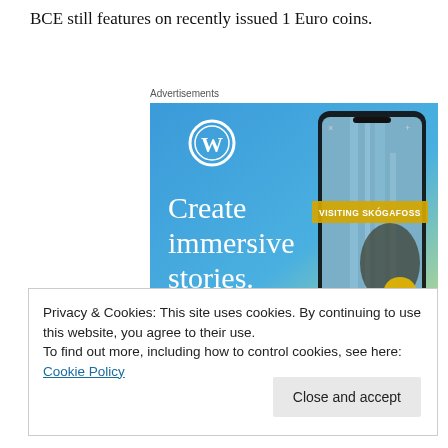BCE still features on recently issued 1 Euro coins.
[Figure (illustration): WordPress advertisement banner showing 'Create immersive stories.' text on blue gradient background with a smartphone displaying a waterfall scene labeled 'VISITING SKÓGAFOSS' and the WordPress logo in the top left.]
Privacy & Cookies: This site uses cookies. By continuing to use this website, you agree to their use.
To find out more, including how to control cookies, see here: Cookie Policy